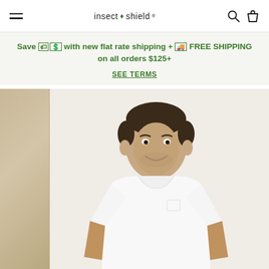insect shield
Save 🛒 with new flat rate shipping + 🚚 FREE SHIPPING on all orders $125+
SEE TERMS
[Figure (photo): A smiling man wearing a white crew-neck t-shirt, photographed from the waist up against a light off-white background. A second partially-visible product (beige/tan colored item) is visible on the left edge.]